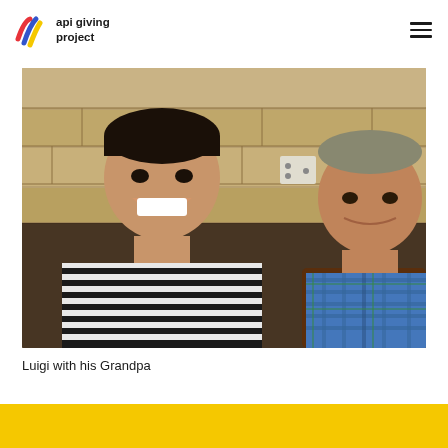api giving project
[Figure (photo): Two Asian men sitting together — a younger man on the left wearing a black and white striped shirt smiling broadly, and an elderly man on the right wearing a blue plaid shirt, seated in a brown leather chair, with a stone wall background.]
Luigi with his Grandpa